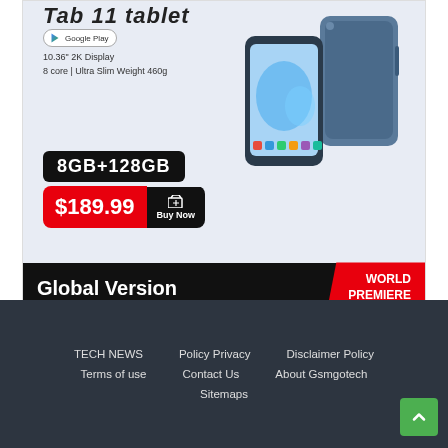[Figure (infographic): Tablet advertisement showing a Tab 11 Tablet with Google Play badge, specs (10.36 inch 2K Display, 8 core, Ultra Slim Weight 460g), 8GB+128GB storage badge, $189.99 Buy Now price button, a photo of the tablet device (front and back), and a 'Global Version - World Premiere' banner at the bottom.]
TECH NEWS   Policy Privacy   Disclaimer Policy   Terms of use   Contact Us   About Gsmgotech   Sitemaps